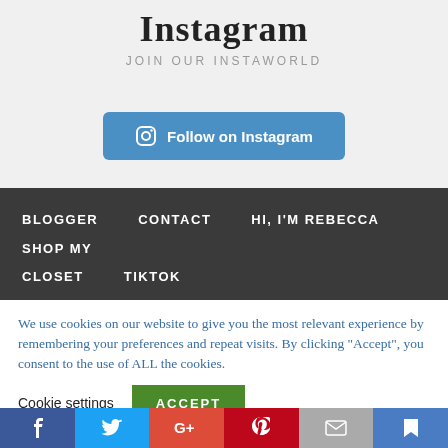Instagram
JOIN OUR INSTAWORLD
Follow on Instagram
BLOGGER   CONTACT   HI, I'M REBECCA   SHOP MY   CLOSET   TIKTOK
We use cookies on our website to give you the most relevant experience by remembering your preferences and repeat visits. By clicking “Accept”, you consent to the use of ALL the cookies.
Cookie settings   ACCEPT